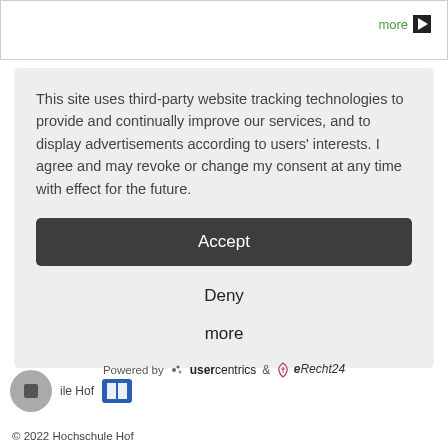more
This site uses third-party website tracking technologies to provide and continually improve our services, and to display advertisements according to users' interests. I agree and may revoke or change my consent at any time with effect for the future.
Accept
Deny
more
Powered by  usercentrics  &  eRecht24
ile Hof
© 2022 Hochschule Hof